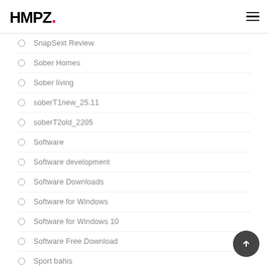HMPZ.
SnapSext Review
Sober Homes
Sober living
soberT1new_25.11
soberT2old_2205
Software
Software development
Software Downloads
Software for Windows
Software for Windows 10
Software Free Download
Sport bahis